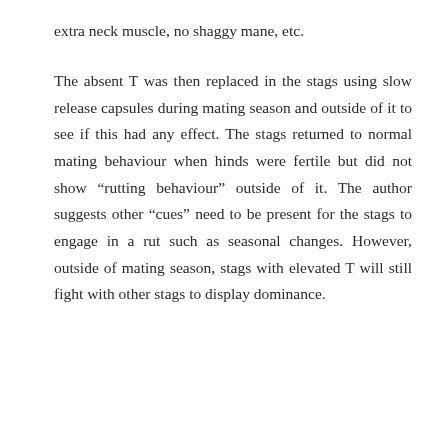extra neck muscle, no shaggy mane, etc.
The absent T was then replaced in the stags using slow release capsules during mating season and outside of it to see if this had any effect. The stags returned to normal mating behaviour when hinds were fertile but did not show “rutting behaviour” outside of it. The author suggests other “cues” need to be present for the stags to engage in a rut such as seasonal changes. However, outside of mating season, stags with elevated T will still fight with other stags to display dominance.